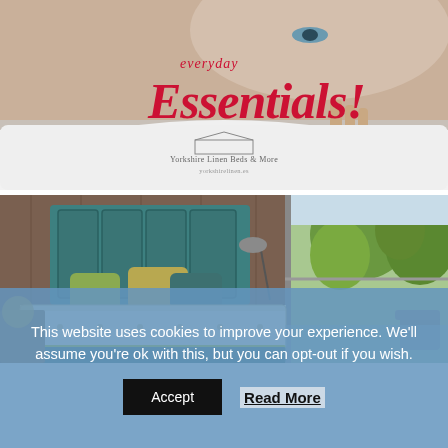[Figure (photo): Promotional banner showing a woman peeking over a white sheet/duvet, with text 'everyday Essentials!' in red cursive/italic font and Yorkshire Linen Beds & More logo below]
[Figure (photo): Bedroom scene with a teal/green upholstered bed with decorative cushions, white tufted mattress with yellow trim, wooden wall paneling, and a view of green trees through a glass wall on the right]
This website uses cookies to improve your experience. We'll assume you're ok with this, but you can opt-out if you wish.
Accept   Read More